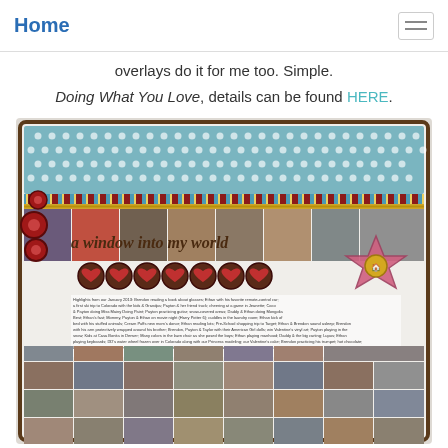Home
overlays do it for me too. Simple.
Doing What You Love, details can be found HERE.
[Figure (photo): Scrapbook layout titled 'a window into my world' featuring a teal polka-dot paper, striped border, gold rule, a row of family photos, heart embellishments, a pink star decoration, journaling text, and a large grid of small family photos below.]